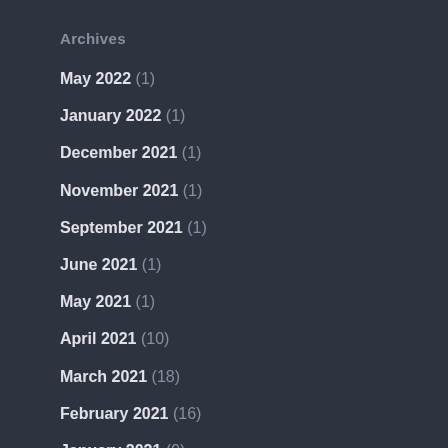Archives
May 2022 (1)
January 2022 (1)
December 2021 (1)
November 2021 (1)
September 2021 (1)
June 2021 (1)
May 2021 (1)
April 2021 (10)
March 2021 (18)
February 2021 (16)
January 2021 (9)
December 2020 (8)